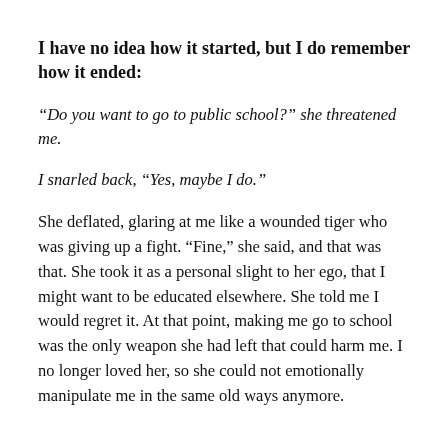I have no idea how it started, but I do remember how it ended:
“Do you want to go to public school?” she threatened me.
I snarled back, “Yes, maybe I do.”
She deflated, glaring at me like a wounded tiger who was giving up a fight. “Fine,” she said, and that was that. She took it as a personal slight to her ego, that I might want to be educated elsewhere. She told me I would regret it. At that point, making me go to school was the only weapon she had left that could harm me. I no longer loved her, so she could not emotionally manipulate me in the same old ways anymore.